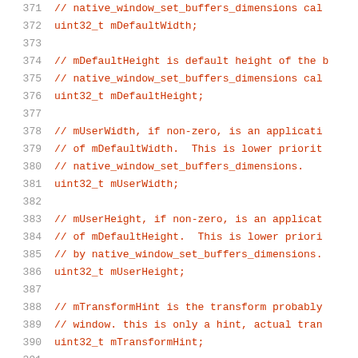371    // native_window_set_buffers_dimensions cal
372    uint32_t mDefaultWidth;
373
374    // mDefaultHeight is default height of the b
375    // native_window_set_buffers_dimensions cal
376    uint32_t mDefaultHeight;
377
378    // mUserWidth, if non-zero, is an applicati
379    // of mDefaultWidth.  This is lower priorit
380    // native_window_set_buffers_dimensions.
381    uint32_t mUserWidth;
382
383    // mUserHeight, if non-zero, is an applicat
384    // of mDefaultHeight.  This is lower priori
385    // by native_window_set_buffers_dimensions.
386    uint32_t mUserHeight;
387
388    // mTransformHint is the transform probably
389    // window. this is only a hint, actual tran
390    uint32_t mTransformHint;
391